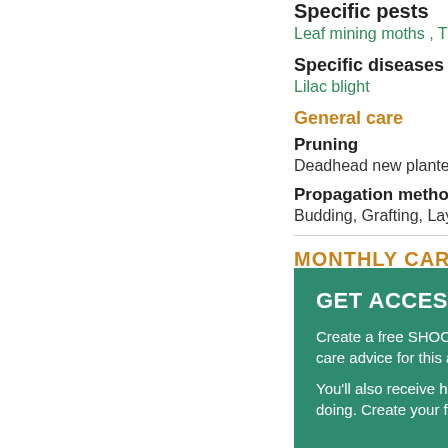Specific pests
Leaf mining moths , Thrips
Specific diseases
Lilac blight
General care
Pruning
Deadhead new planted sh...
Propagation methods
Budding, Grafting, Layerin...
MONTHLY CARE A
GET ACCESS TO
Create a free SHOOT care advice for this a...
You'll also receive ha... doing. Create your fre...